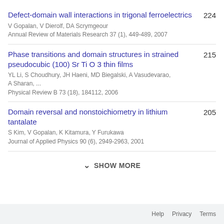Defect-domain wall interactions in trigonal ferroelectrics
V Gopalan, V Dierolf, DA Scrymgeour
Annual Review of Materials Research 37 (1), 449-489, 2007
224
Phase transitions and domain structures in strained pseudocubic (100) Sr Ti O 3 thin films
YL Li, S Choudhury, JH Haeni, MD Biegalski, A Vasudevarao, A Sharan, ...
Physical Review B 73 (18), 184112, 2006
215
Domain reversal and nonstoichiometry in lithium tantalate
S Kim, V Gopalan, K Kitamura, Y Furukawa
Journal of Applied Physics 90 (6), 2949-2963, 2001
205
SHOW MORE
Help  Privacy  Terms